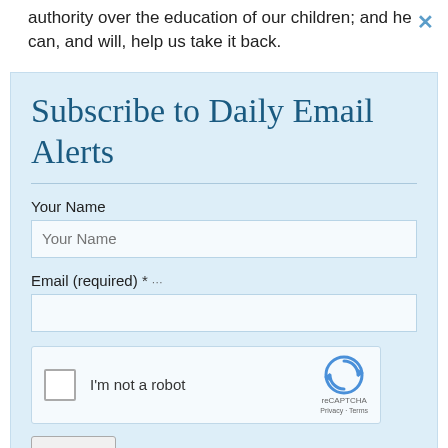authority over the education of our children; and he can, and will, help us take it back.
Subscribe to Daily Email Alerts
Your Name
Email (required) *
[Figure (other): reCAPTCHA widget with checkbox labeled 'I'm not a robot' and reCAPTCHA logo with Privacy and Terms links]
Submit
By submitting this form, you are consenting to receive marketing emails from: News With Views, P.O. Box 990, Spring Branch, TX, 78070-9998,